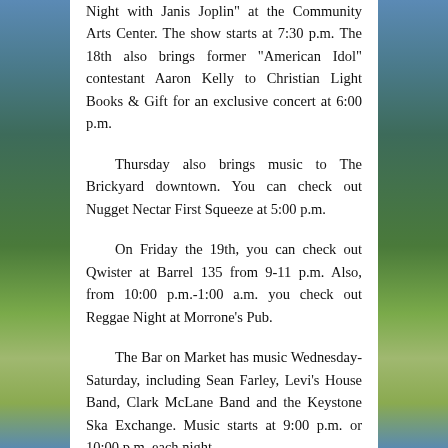Night with Janis Joplin" at the Community Arts Center. The show starts at 7:30 p.m. The 18th also brings former "American Idol" contestant Aaron Kelly to Christian Light Books & Gift for an exclusive concert at 6:00 p.m.
Thursday also brings music to The Brickyard downtown. You can check out Nugget Nectar First Squeeze at 5:00 p.m.
On Friday the 19th, you can check out Qwister at Barrel 135 from 9-11 p.m. Also, from 10:00 p.m.-1:00 a.m. you check out Reggae Night at Morrone's Pub.
The Bar on Market has music Wednesday-Saturday, including Sean Farley, Levi's House Band, Clark McLane Band and the Keystone Ska Exchange. Music starts at 9:00 p.m. or 10:00 p.m. each night.
On Saturday the 20th, head to the Lock Haven